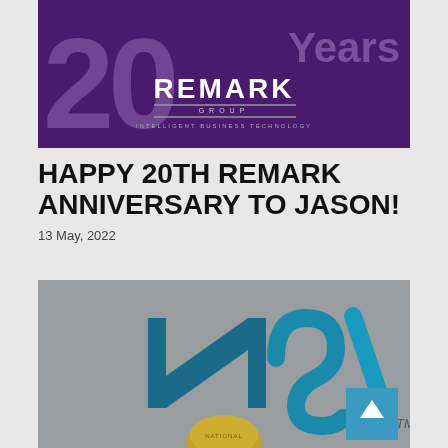[Figure (logo): Remark Group 20 Years banner — dark purple background with large faded '20' numeral, 'Years' text, and REMARK GROUP INTELLIGENT BUSINESS TECHNOLOGY logo in white]
HAPPY 20TH REMARK ANNIVERSARY TO JASON!
13 May, 2022
[Figure (logo): NSI logo on grey background with a gold medal/seal at the bottom and a blue back-to-top arrow button in the lower right]